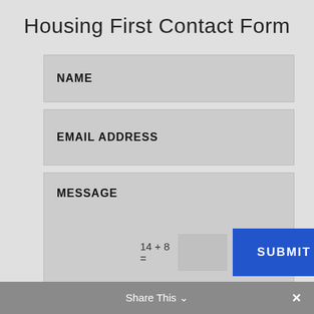Housing First Contact Form
NAME
EMAIL ADDRESS
MESSAGE
14 + 8 =
SUBMIT
Share This ✓  ✕